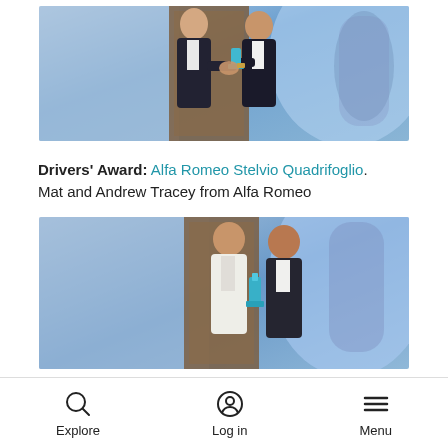[Figure (photo): Two men in suits shaking hands at an award ceremony on a stage with blue lighting, one holding a blue trophy]
Drivers' Award: Alfa Romeo Stelvio Quadrifoglio. Mat and Andrew Tracey from Alfa Romeo
[Figure (photo): Two men standing together at an award ceremony, one holding a blue trophy, blue lighting background]
Explore  Log in  Menu